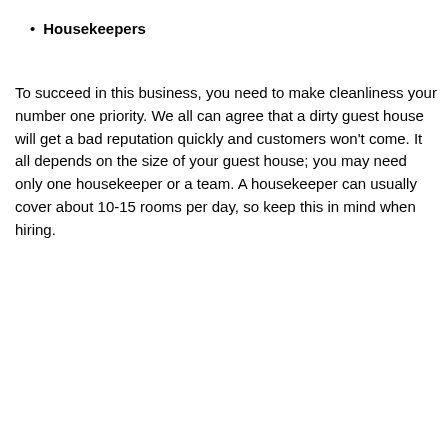Housekeepers
To succeed in this business, you need to make cleanliness your number one priority. We all can agree that a dirty guest house will get a bad reputation quickly and customers won't come. It all depends on the size of your guest house; you may need only one housekeeper or a team. A housekeeper can usually cover about 10-15 rooms per day, so keep this in mind when hiring.